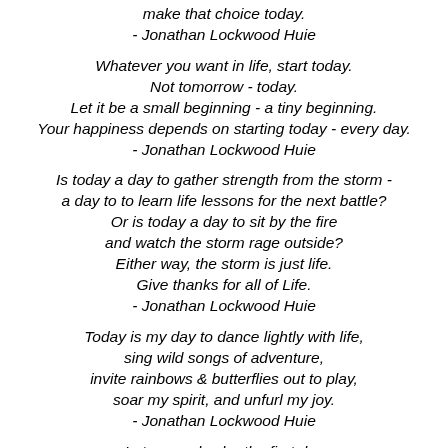make that choice today.
- Jonathan Lockwood Huie
Whatever you want in life, start today.
Not tomorrow - today.
Let it be a small beginning - a tiny beginning.
Your happiness depends on starting today - every day.
- Jonathan Lockwood Huie
Is today a day to gather strength from the storm -
a day to to learn life lessons for the next battle?
Or is today a day to sit by the fire
and watch the storm rage outside?
Either way, the storm is just life.
Give thanks for all of Life.
- Jonathan Lockwood Huie
Today is my day to dance lightly with life,
sing wild songs of adventure,
invite rainbows & butterflies out to play,
soar my spirit, and unfurl my joy.
- Jonathan Lockwood Huie
Let every day be the first day
of the rest of your life.